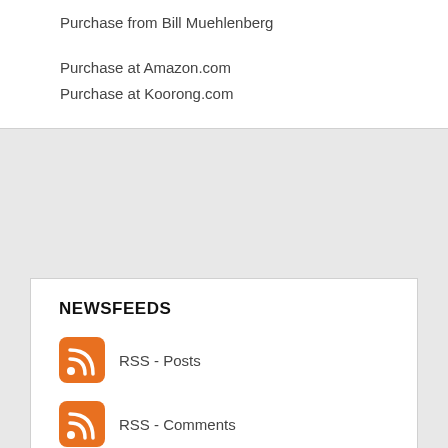Purchase from Bill Muehlenberg
Purchase at Amazon.com
Purchase at Koorong.com
NEWSFEEDS
RSS - Posts
RSS - Comments
COPYRIGHT
Bill Muehlenberg.
All rights reserved